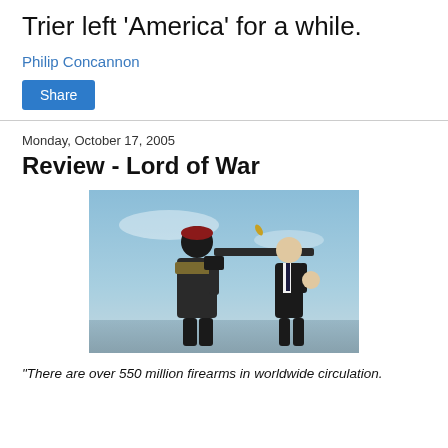Trier left ‘America’ for a while.
Philip Concannon
Share
Monday, October 17, 2005
Review - Lord of War
[Figure (photo): Scene from Lord of War film: a soldier in military attire with a red beret holding a large machine gun with ammunition belt, next to a man in a dark suit gesturing with his hand, set against a blue sky]
"There are over 550 million firearms in worldwide circulation.